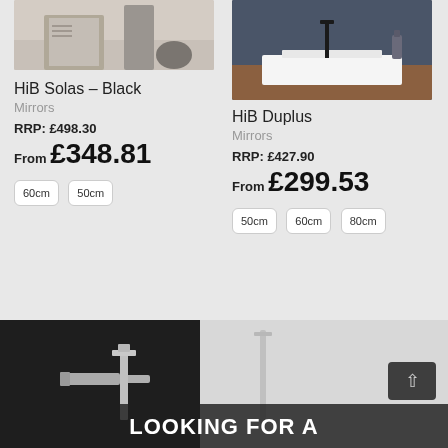[Figure (photo): HiB Solas Black mirror product photo, light background with furniture]
HiB Solas – Black
Mirrors
RRP: £498.30
From £348.81
60cm  50cm
[Figure (photo): HiB Duplus mirror product photo over dark wall and wooden vanity unit with white basin]
HiB Duplus
Mirrors
RRP: £427.90
From £299.53
50cm  60cm  80cm
[Figure (photo): Dark background with chrome bath filler/tap fittings, wall-mounted taps on dark and light sections]
LOOKING FOR A